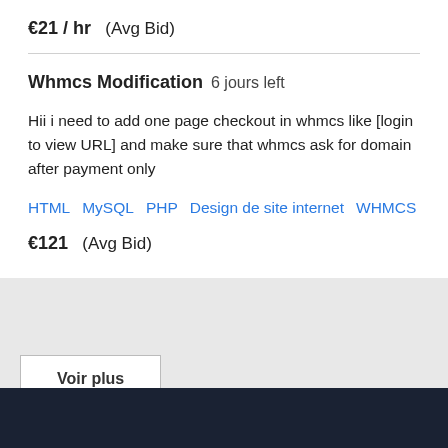€21 / hr  (Avg Bid)
Whmcs Modification   6 jours left
Hii i need to add one page checkout in whmcs like [login to view URL] and make sure that whmcs ask for domain after payment only
HTML   MySQL   PHP   Design de site internet   WHMCS
€121  (Avg Bid)
Voir plus